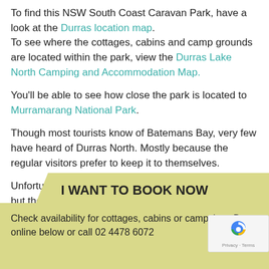To find this NSW South Coast Caravan Park, have a look at the Durras location map. To see where the cottages, cabins and camp grounds are located within the park, view the Durras Lake North Camping and Accommodation Map.
You'll be able to see how close the park is located to Murramarang National Park.
Though most tourists know of Batemans Bay, very few have heard of Durras North. Mostly because the regular visitors prefer to keep it to themselves.
Unfortunately we cannot accommodate dog owners, but there are some kennels nearby, check details here: Dogs at our Holiday Park.
I WANT TO BOOK NOW
Check availability for cottages, cabins or campsites. Book online below or call 02 4478 6072.